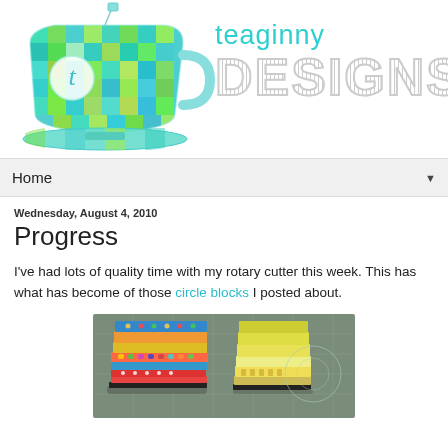[Figure (logo): Teaginny Designs blog header with colorful teacup logo on the left and 'teaginny DESIGNS' text on the right in teal/gray]
Home ▼
Wednesday, August 4, 2010
Progress
I've had lots of quality time with my rotary cutter this week. This has what has become of those circle blocks I posted about.
[Figure (photo): Photo of stacked colorful fabric squares/blocks on a cutting mat, with a rotary cutter visible in the background]